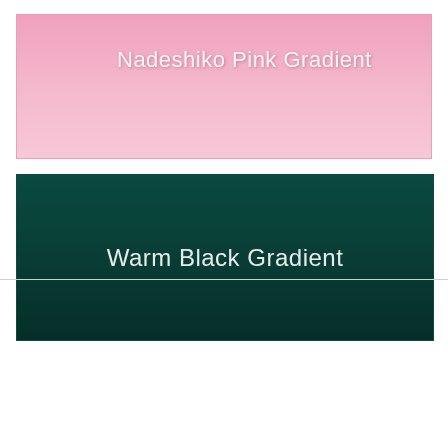[Figure (illustration): A rectangular block with a Nadeshiko pink gradient background (light pink, top to bottom), containing the text 'Nadeshiko Pink Gradient' in white/light colored font at the upper-left area.]
[Figure (illustration): A rectangular block with a warm black (dark teal/green) gradient background, containing the text 'Warm Black Gradient' centered in white font.]